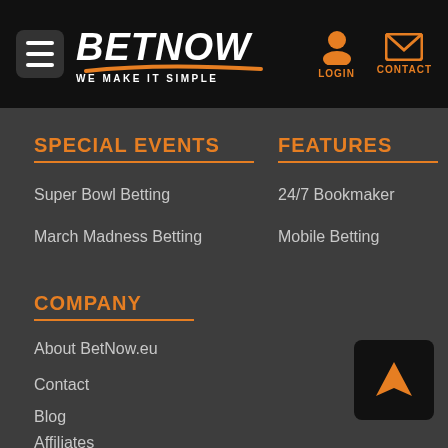BETNOW — WE MAKE IT SIMPLE — LOGIN — CONTACT
SPECIAL EVENTS
Super Bowl Betting
March Madness Betting
FEATURES
24/7 Bookmaker
Mobile Betting
COMPANY
About BetNow.eu
Contact
Blog
Affiliates
[Figure (logo): Navigation arrow button (orange arrow on black background)]